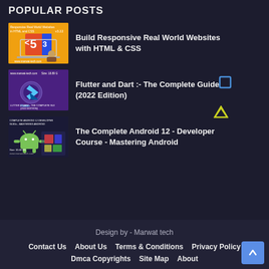POPULAR POSTS
Build Responsive Real World Websites with HTML & CSS
Flutter and Dart :- The Complete Guide (2022 Edition)
The Complete Android 12 - Developer Course - Mastering Android
Design by - Marwat tech
Contact Us   About Us   Terms & Conditions   Privacy Policy   Dmca Copyrights   Site Map   About